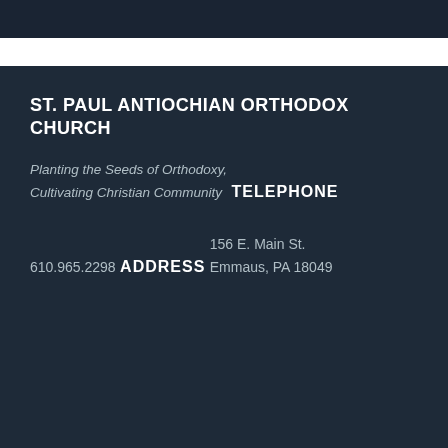ST. PAUL ANTIOCHIAN ORTHODOX CHURCH
Planting the Seeds of Orthodoxy,
Cultivating Christian Community
TELEPHONE
610.965.2298
ADDRESS
156 E. Main St.
Emmaus, PA 18049